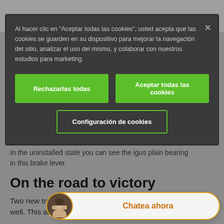[Figure (screenshot): Cookie consent modal overlay on a Spanish-language website with dark background, showing cookie acceptance text, two green buttons (Rechazarlas todas, Aceptar todas las cookies), one outlined button (Configuración de cookies), background page content about igus plain bearing and 'On the road to victory' section, and a live chat widget at the bottom.]
Al hacer clic en "Aceptar todas las cookies", usted acepta que las cookies se guarden en su dispositivo para mejorar la navegación del sitio, analizar el uso del mismo, y colaborar con nuestros estudios para marketing.
In the uninstalled state you can see the igus plain bearing in this brake lever.
On the road to victory
Two new trophies ... well. This also ga...
Chatea ahora